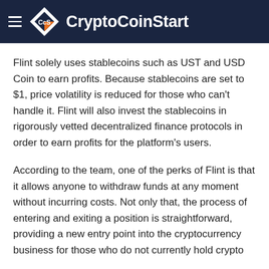CryptoCoinStart
Flint solely uses stablecoins such as UST and USD Coin to earn profits. Because stablecoins are set to $1, price volatility is reduced for those who can't handle it. Flint will also invest the stablecoins in rigorously vetted decentralized finance protocols in order to earn profits for the platform's users.
According to the team, one of the perks of Flint is that it allows anyone to withdraw funds at any moment without incurring costs. Not only that, the process of entering and exiting a position is straightforward, providing a new entry point into the cryptocurrency business for those who do not currently hold crypto